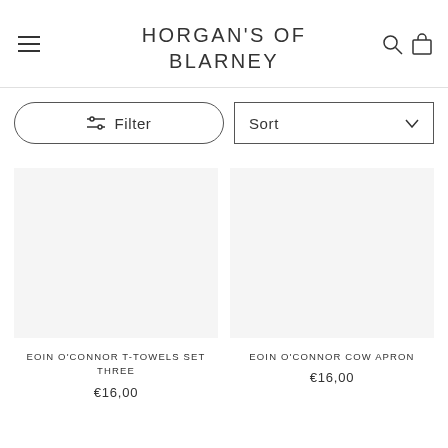HORGAN'S OF BLARNEY
Filter
Sort
EOIN O'CONNOR T-TOWELS SET THREE
€16,00
EOIN O'CONNOR COW APRON
€16,00